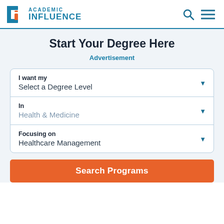Academic Influence
Start Your Degree Here
Advertisement
I want my
Select a Degree Level
In
Health & Medicine
Focusing on
Healthcare Management
Search Programs